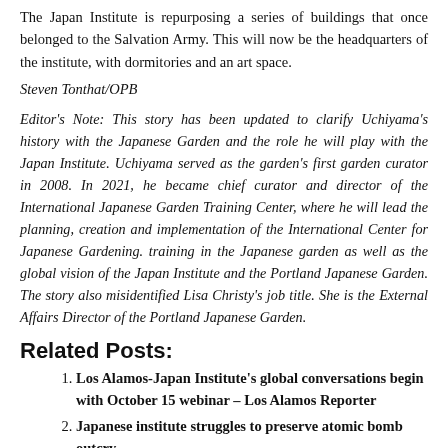The Japan Institute is repurposing a series of buildings that once belonged to the Salvation Army. This will now be the headquarters of the institute, with dormitories and an art space.
Steven Tonthat/OPB
Editor's Note: This story has been updated to clarify Uchiyama's history with the Japanese Garden and the role he will play with the Japan Institute. Uchiyama served as the garden's first garden curator in 2008. In 2021, he became chief curator and director of the International Japanese Garden Training Center, where he will lead the planning, creation and implementation of the International Center for Japanese Gardening. training in the Japanese garden as well as the global vision of the Japan Institute and the Portland Japanese Garden. The story also misidentified Lisa Christy's job title. She is the External Affairs Director of the Portland Japanese Garden.
Related Posts:
Los Alamos-Japan Institute's global conversations begin with October 15 webinar – Los Alamos Reporter
Japanese institute struggles to preserve atomic bomb outcry